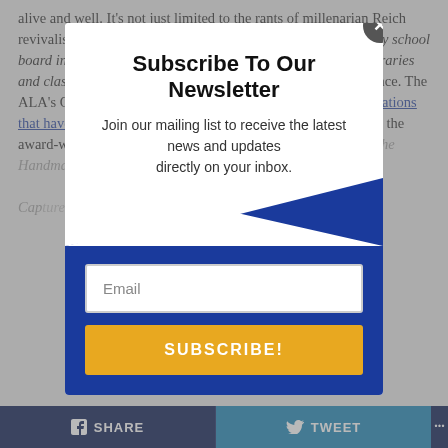alive and well. It's not just limited to the rants of millenarian Reich revivalists or racist one-party ideologues. Recently, a US county school board in Tennessee banned Art Spiegelman's Maus from its libraries and classrooms for its use of profanity and depictions of violence. The ALA's Office of Intellectual Freedom tracks almost 500 publications that have been banned in the various parts of the US, including the award-winning novel: To Kill a Mockingbird by Harper Lee, The Handmaid's Tale, Catch-22...
[Figure (screenshot): Newsletter subscription modal popup with title 'Subscribe To Our Newsletter', subtitle text about joining mailing list, email input field, and yellow SUBSCRIBE! button on dark blue background. A grey close button with X is in top-right corner.]
SHARE
TWEET